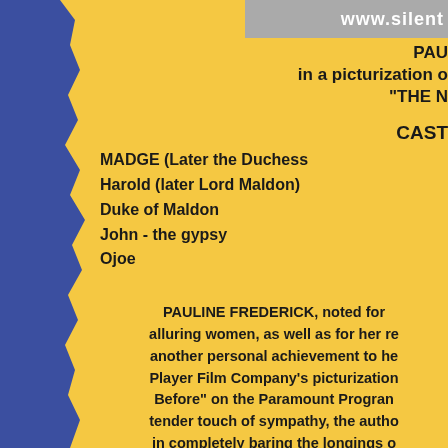www.silent
PAULINE in a picturization o "THE N
CAST
MADGE (Later the Duchess
Harold (later Lord Maldon)
Duke of Maldon
John - the gypsy
Ojoe
PAULINE FREDERICK, noted for alluring women, as well as for her re another personal achievement to he Player Film Company's picturization Before" on the Paramount Progran tender touch of sympathy, the autho in completely baring the longings o culminate in one great overwhelmin have been faithfully and vividly prese